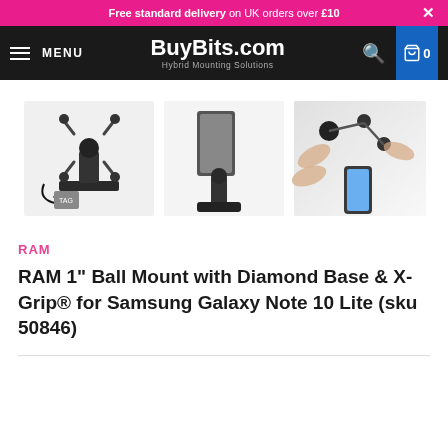Free standard delivery on UK orders over £10
BuyBits.com — Hybrid Mounting Solutions
[Figure (photo): Three product images: RAM mount kit with X-Grip and cable, side view of mount on diamond base, and hands holding a smartphone with mounting accessories]
RAM
RAM 1" Ball Mount with Diamond Base & X-Grip® for Samsung Galaxy Note 10 Lite (sku 50846)